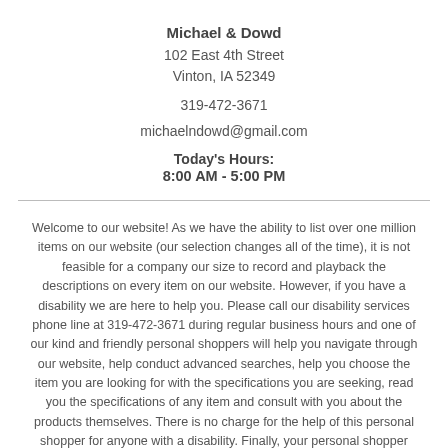Michael & Dowd
102 East 4th Street
Vinton, IA 52349
319-472-3671
michaelndowd@gmail.com
Today's Hours:
8:00 AM - 5:00 PM
Welcome to our website! As we have the ability to list over one million items on our website (our selection changes all of the time), it is not feasible for a company our size to record and playback the descriptions on every item on our website. However, if you have a disability we are here to help you. Please call our disability services phone line at 319-472-3671 during regular business hours and one of our kind and friendly personal shoppers will help you navigate through our website, help conduct advanced searches, help you choose the item you are looking for with the specifications you are seeking, read you the specifications of any item and consult with you about the products themselves. There is no charge for the help of this personal shopper for anyone with a disability. Finally, your personal shopper will explain our Privacy Policy and Terms of Service, and help you place an order if you so desire.